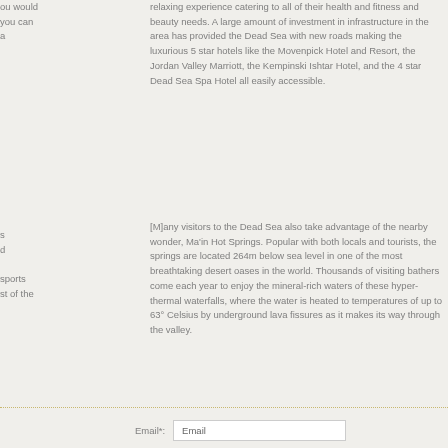relaxing experience catering to all of their health and fitness and beauty needs. A large amount of investment in infrastructure in the area has provided the Dead Sea with new roads making the luxurious 5 star hotels like the Movenpick Hotel and Resort, the Jordan Valley Marriott, the Kempinski Ishtar Hotel, and the 4 star Dead Sea Spa Hotel all easily accessible.
[M]any visitors to the Dead Sea also take advantage of the nearby wonder, Ma'in Hot Springs. Popular with both locals and tourists, the springs are located 264m below sea level in one of the most breathtaking desert oases in the world. Thousands of visiting bathers come each year to enjoy the mineral-rich waters of these hyper-thermal waterfalls, where the water is heated to temperatures of up to 63° Celsius by underground lava fissures as it makes its way through the valley.
ou would you can a
s d sports st of the
Email*: